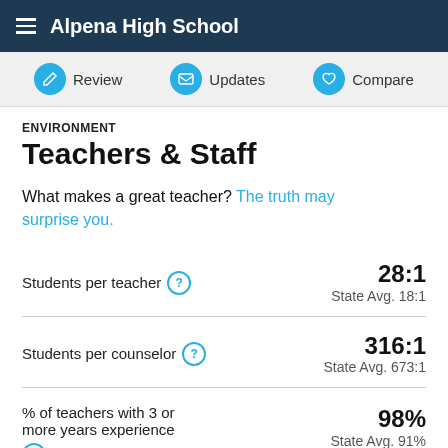Alpena High School
ENVIRONMENT
Teachers & Staff
What makes a great teacher? The truth may surprise you.
| Metric | Value | State Avg |
| --- | --- | --- |
| Students per teacher | 28:1 | 18:1 |
| Students per counselor | 316:1 | 673:1 |
| % of teachers with 3 or more years experience | 98% | 91% |